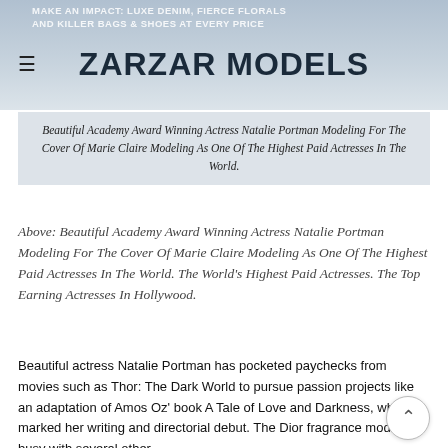MAKE AN IMPACT: LUXE DENIM, FIERCE FLORALS AND KILLER BAGS & SHOES AT EVERY PRICE
ZARZAR MODELS
Beautiful Academy Award Winning Actress Natalie Portman Modeling For The Cover Of Marie Claire Modeling As One Of The Highest Paid Actresses In The World.
Above: Beautiful Academy Award Winning Actress Natalie Portman Modeling For The Cover Of Marie Claire Modeling As One Of The Highest Paid Actresses In The World. The World's Highest Paid Actresses. The Top Earning Actresses In Hollywood.
Beautiful actress Natalie Portman has pocketed paychecks from movies such as Thor: The Dark World to pursue passion projects like an adaptation of Amos Oz' book A Tale of Love and Darkness, which marked her writing and directorial debut. The Dior fragrance model is busy with several other